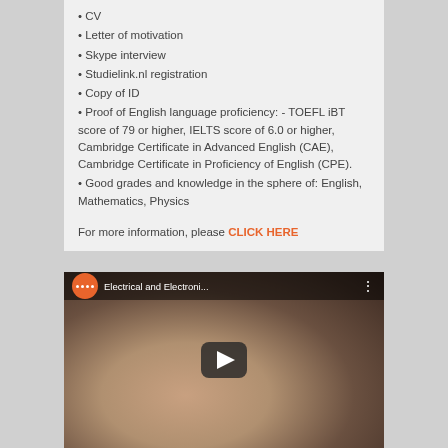• CV
• Letter of motivation
• Skype interview
• Studielink.nl registration
• Copy of ID
• Proof of English language proficiency: - TOEFL iBT score of 79 or higher, IELTS score of 6.0 or higher, Cambridge Certificate in Advanced English (CAE), Cambridge Certificate in Proficiency of English (CPE).
• Good grades and knowledge in the sphere of: English, Mathematics, Physics
For more information, please CLICK HERE
[Figure (screenshot): YouTube video thumbnail showing a smiling young woman, with video title 'Electrical and Electroni...' in the top bar and a play button overlay.]